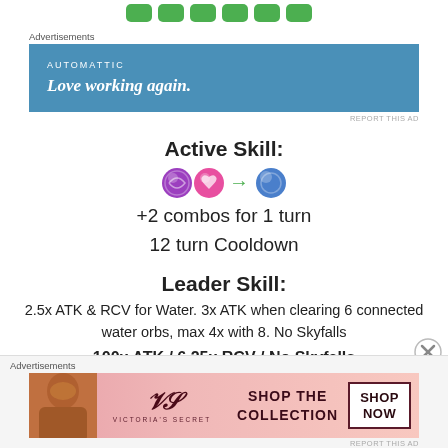[Figure (screenshot): Top partial row of emoji/icon buttons in green]
Advertisements
[Figure (screenshot): Automattic advertisement banner: 'AUTOMATTIC' logo, 'Love working again.' slogan on blue background]
REPORT THIS AD
Active Skill:
[Figure (infographic): Orb icons: purple swirl orb, pink heart orb, green arrow, blue orb]
+2 combos for 1 turn
12 turn Cooldown
Leader Skill:
2.5x ATK & RCV for Water. 3x ATK when clearing 6 connected water orbs, max 4x with 8. No Skyfalls
100x ATK / 6.25x RCV / No Skyfalls
Advertisements
[Figure (screenshot): Victoria's Secret advertisement: woman with curly hair, VS logo, 'SHOP THE COLLECTION', 'SHOP NOW' button]